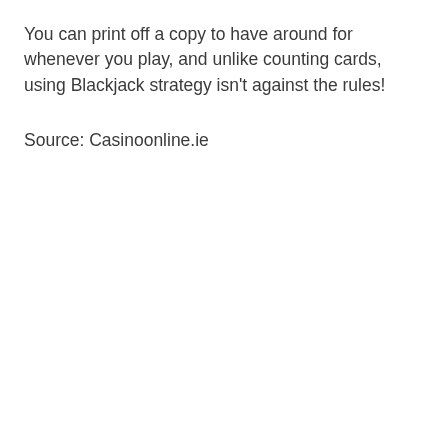You can print off a copy to have around for whenever you play, and unlike counting cards, using Blackjack strategy isn't against the rules!
Source: Casinoonline.ie